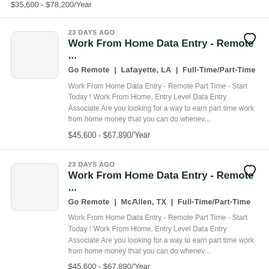$35,600 - $78,200/Year
23 DAYS AGO
Work From Home Data Entry - Remote ...
Go Remote | Lafayette, LA | Full-Time/Part-Time
Work From Home Data Entry - Remote Part Time - Start Today ! Work From Home, Entry Level Data Entry Associate Are you looking for a way to earn part time work from home money that you can do whenev...
$45,600 - $67,890/Year
23 DAYS AGO
Work From Home Data Entry - Remote ...
Go Remote | McAllen, TX | Full-Time/Part-Time
Work From Home Data Entry - Remote Part Time - Start Today ! Work From Home, Entry Level Data Entry Associate Are you looking for a way to earn part time work from home money that you can do whenev...
$45,600 - $67,890/Year